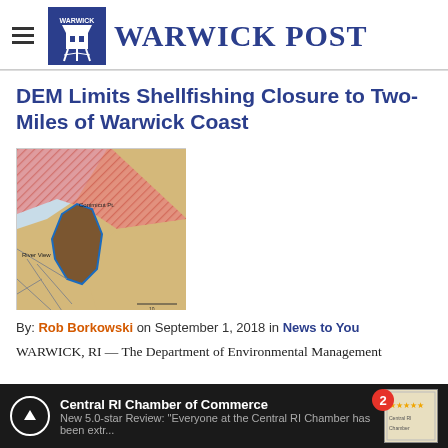Warwick Post
DEM Limits Shellfishing Closure to Two-Miles of Warwick Coast
[Figure (map): A coastal map showing a shellfishing closure area near Warwick, RI. The map shows red hatched areas indicating closed shellfishing zones, tan/beige areas, and a dark brown/blue outlined area showing the limited two-mile closure zone. Location labels include 'Conimicut Pt.' and 'River View'.]
By: Rob Borkowski on September 1, 2018 in News to You
WARWICK, RI — The Department of Environmental Management